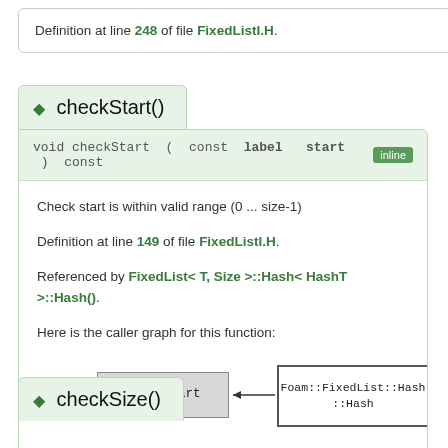Definition at line 248 of file FixedListI.H.
checkStart()
void checkStart ( const label start ) const  inline
Check start is within valid range (0 ... size-1)
Definition at line 149 of file FixedListI.H.
Referenced by FixedList< T, Size >::Hash< HashT >::Hash().
Here is the caller graph for this function:
[Figure (flowchart): Caller graph showing checkStart node with arrow from Foam::FixedList::Hash::Hash node]
checkSize()